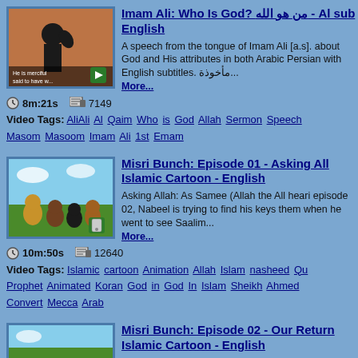[Figure (screenshot): Thumbnail for Imam Ali video showing silhouette of person praying]
Imam Ali: Who Is God? من هو الله - Al sub English
A speech from the tongue of Imam Ali [a.s]. about God and His attributes in both Arabic Persian with English subtitles. مأخوذة... More...
8m:21s   7149
Video Tags: AliAli  Al  Qaim  Who  is  God  Allah  Sermon  Speech  Masom  Masoom  Imam  Ali  1st  Emam
[Figure (screenshot): Thumbnail for Misri Bunch Episode 01 showing animated dogs on grass]
Misri Bunch: Episode 01 - Asking All Islamic Cartoon - English
Asking Allah: As Samee (Allah the All heari episode 02, Nabeel is trying to find his keys them when he went to see Saalim... More...
10m:50s   12640
Video Tags: Islamic  cartoon  Animation  Allah  Islam  nasheed  Qu Prophet  Animated  Koran  God  in  God  In  Islam  Sheikh  Ahmed Convert  Mecca  Arab
[Figure (screenshot): Thumbnail for Misri Bunch Episode 02]
Misri Bunch: Episode 02 - Our Return Islamic Cartoon - English